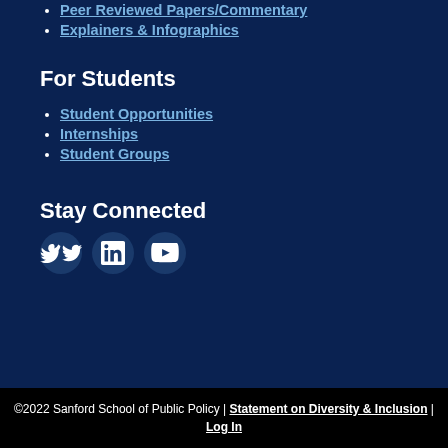Peer Reviewed Papers/Commentary
Explainers & Infographics
For Students
Student Opportunities
Internships
Student Groups
Stay Connected
[Figure (other): Social media icons: Twitter, LinkedIn, YouTube]
©2022 Sanford School of Public Policy | Statement on Diversity & Inclusion | Log In